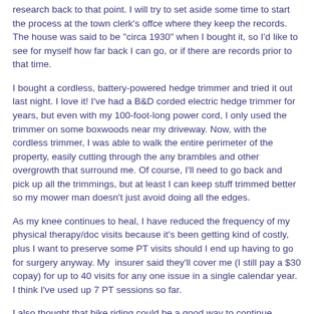research back to that point. I will try to set aside some time to start the process at the town clerk's offce where they keep the records. The house was said to be "circa 1930" when I bought it, so I'd like to see for myself how far back I can go, or if there are records prior to that time.
I bought a cordless, battery-powered hedge trimmer and tried it out last night. I love it! I've had a B&D corded electric hedge trimmer for years, but even with my 100-foot-long power cord, I only used the trimmer on some boxwoods near my driveway. Now, with the cordless trimmer, I was able to walk the entire perimeter of the property, easily cutting through the any brambles and other overgrowth that surround me. Of course, I'll need to go back and pick up all the trimmings, but at least I can keep stuff trimmed better so my mower man doesn't just avoid doing all the edges.
As my knee continues to heal, I have reduced the frequency of my physical therapy/doc visits because it's been getting kind of costly, plus I want to preserve some PT visits should I end up having to go for surgery anyway. My insurer said they'll cover me (I still pay a $30 copay) for up to 40 visits for any one issue in a single calendar year. I think I've used up 7 PT sessions so far.
I also thought that bike riding could be a good way to continue rehabbing the knee without the pounding of the joint that comes with walking on a hard surface like asphalt. I've tried it out a few times in a very limited fashion around my neighborhood, and liked it. Unfortunately, my neighborhood is surrounded on 2 sides by busy roads and another way to go involves a very